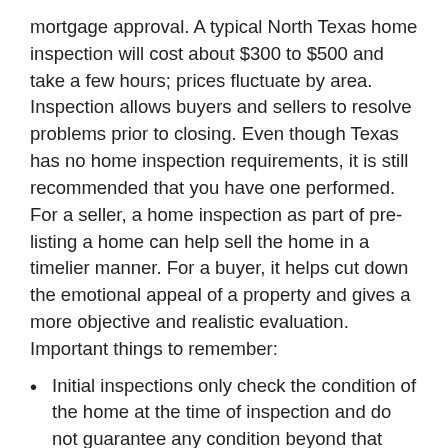mortgage approval. A typical North Texas home inspection will cost about $300 to $500 and take a few hours; prices fluctuate by area. Inspection allows buyers and sellers to resolve problems prior to closing. Even though Texas has no home inspection requirements, it is still recommended that you have one performed. For a seller, a home inspection as part of pre-listing a home can help sell the home in a timelier manner. For a buyer, it helps cut down the emotional appeal of a property and gives a more objective and realistic evaluation. Important things to remember:
Initial inspections only check the condition of the home at the time of inspection and do not guarantee any condition beyond that point.
Some special features on a home may not be included in the inspection such as swimming pools, in-ground sprinklers, gazebos, etc.